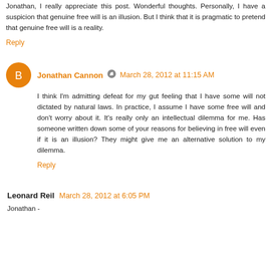Jonathan, I really appreciate this post. Wonderful thoughts. Personally, I have a suspicion that genuine free will is an illusion. But I think that it is pragmatic to pretend that genuine free will is a reality.
Reply
Jonathan Cannon  March 28, 2012 at 11:15 AM
I think I'm admitting defeat for my gut feeling that I have some will not dictated by natural laws. In practice, I assume I have some free will and don't worry about it. It's really only an intellectual dilemma for me. Has someone written down some of your reasons for believing in free will even if it is an illusion? They might give me an alternative solution to my dilemma.
Reply
Leonard Reil  March 28, 2012 at 6:05 PM
Jonathan -